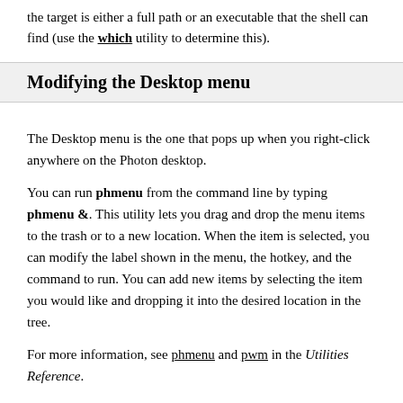the target is either a full path or an executable that the shell can find (use the which utility to determine this).
Modifying the Desktop menu
The Desktop menu is the one that pops up when you right-click anywhere on the Photon desktop.
You can run phmenu from the command line by typing phmenu &. This utility lets you drag and drop the menu items to the trash or to a new location. When the item is selected, you can modify the label shown in the menu, the hotkey, and the command to run. You can add new items by selecting the item you would like and dropping it into the desired location in the tree.
For more information, see phmenu and pwm in the Utilities Reference.
Starting applications automatically